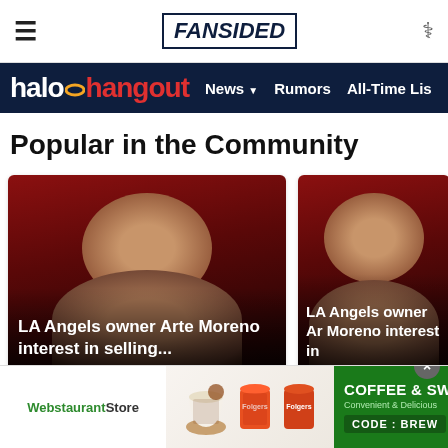FanSided
halo hangout | News | Rumors | All-Time Lis
Popular in the Community
[Figure (photo): Card image: close-up of person's face with red background, overlaid with text 'LA Angels owner Arte Moreno interest in selling...']
Red · 2d
[Figure (photo): Card image: close-up of person's face with red background, overlaid with text 'LA Angels owner Arte Moreno interest in...']
Pennysguy · 5A
[Figure (photo): Advertisement banner: WebstaurantStore - COFFEE & SWEETENER - Convenient & Delicious - CODE: BREW]